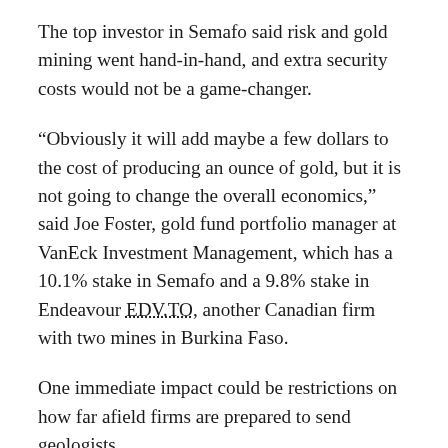The top investor in Semafo said risk and gold mining went hand-in-hand, and extra security costs would not be a game-changer.
“Obviously it will add maybe a few dollars to the cost of producing an ounce of gold, but it is not going to change the overall economics,” said Joe Foster, gold fund portfolio manager at VanEck Investment Management, which has a 10.1% stake in Semafo and a 9.8% stake in Endeavour EDV.TO, another Canadian firm with two mines in Burkina Faso.
One immediate impact could be restrictions on how far afield firms are prepared to send geologists.
In May, Ouagara, [Burkina Faso minister of...